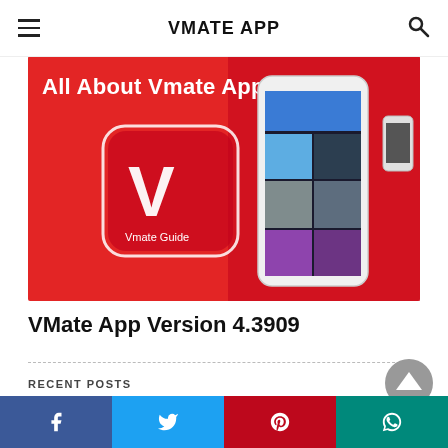VMATE APP
[Figure (photo): Promotional banner image for Vmate App showing a red background with the Vmate Guide app icon (white V logo in rounded square) and a smartphone displaying the Vmate app interface. Text reads 'All About Vmate App'.]
VMate App Version 4.3909
RECENT POSTS
[Figure (photo): Partial thumbnail images of recent posts showing dark vertical bar-like shapes at the bottom of the content area.]
Facebook | Twitter | Pinterest | WhatsApp share buttons